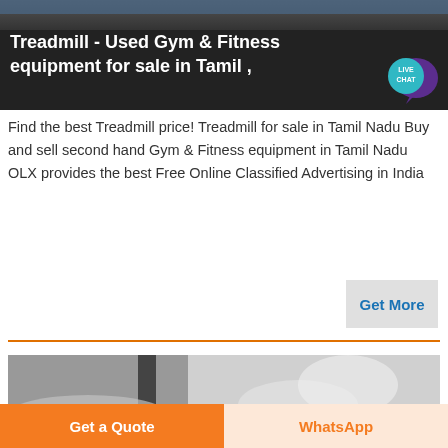[Figure (photo): Dark banner with gym equipment background image and white title text 'Treadmill - Used Gym & Fitness equipment for sale in Tamil ,' with a LIVE CHAT button/bubble on the right]
Find the best Treadmill price! Treadmill for sale in Tamil Nadu Buy and sell second hand Gym & Fitness equipment in Tamil Nadu OLX provides the best Free Online Classified Advertising in India
Get More
[Figure (photo): Close-up photo of worn/damaged treadmill belt or gym equipment surface, grey and white tones]
Get a Quote
WhatsApp